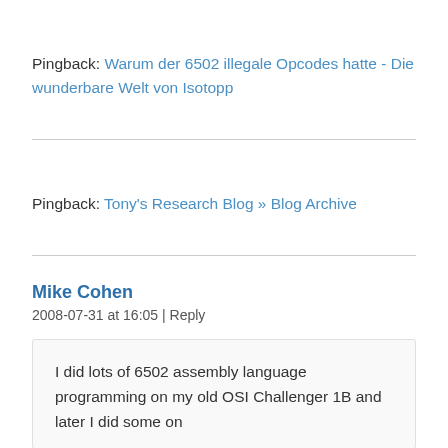Pingback: Warum der 6502 illegale Opcodes hatte - Die wunderbare Welt von Isotopp
Pingback: Tony's Research Blog » Blog Archive
Mike Cohen
2008-07-31 at 16:05 | Reply
I did lots of 6502 assembly language programming on my old OSI Challenger 1B and later I did some on